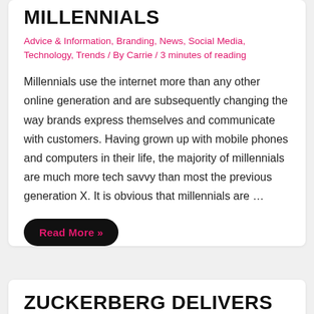MILLENNIALS
Advice & Information, Branding, News, Social Media, Technology, Trends / By Carrie / 3 minutes of reading
Millennials use the internet more than any other online generation and are subsequently changing the way brands express themselves and communicate with customers. Having grown up with mobile phones and computers in their life, the majority of millennials are much more tech savvy than most the previous generation X. It is obvious that millennials are …
Read More »
ZUCKERBERG DELIVERS SMALL BUSINESSES